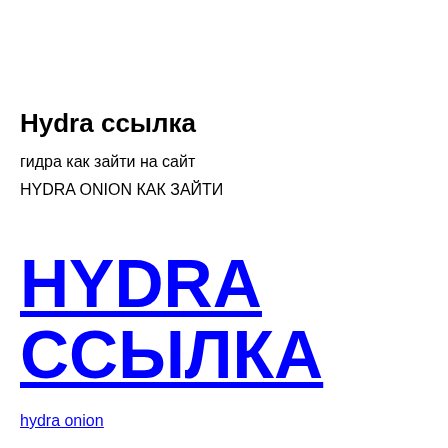Hydra ссылка
гидра как зайти на сайт
HYDRA ONION КАК ЗАЙТИ
HYDRA ССЫЛКА
hydra onion